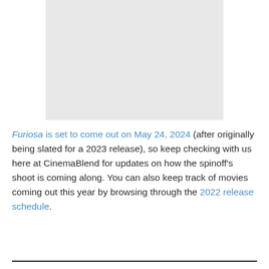[Figure (other): Gray placeholder image block at top of page]
Furiosa is set to come out on May 24, 2024 (after originally being slated for a 2023 release), so keep checking with us here at CinemaBlend for updates on how the spinoff's shoot is coming along. You can also keep track of movies coming out this year by browsing through the 2022 release schedule.